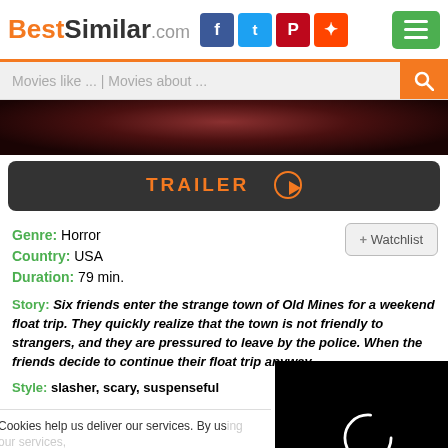BestSimilar.com
Movies like ... | Movies about ...
[Figure (photo): Dark movie scene image strip at top]
TRAILER ▶
Genre: Horror
Country: USA
Duration: 79 min.
+ Watchlist
Story: Six friends enter the strange town of Old Mines for a weekend float trip. They quickly realize that the town is not friendly to strangers, and they are pressured to leave by the police. When the friends decide to continue their float trip anyway, ...
Style: slasher, scary, suspenseful
Cookies help us deliver our services. By using our services, you agree to our use of cookies as described
Preferences
Accept
[Figure (screenshot): Black video player overlay with loading spinner]